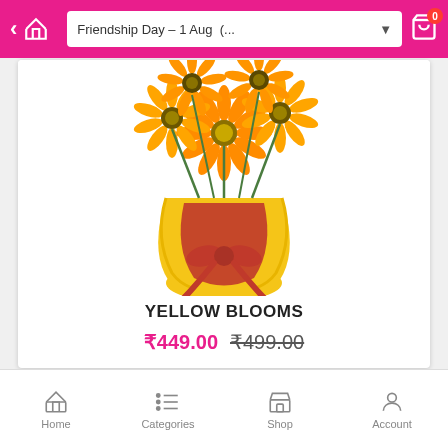Friendship Day – 1 Aug (...
[Figure (photo): Bouquet of orange gerbera daisies wrapped in yellow and red tissue paper with a red ribbon bow at the bottom]
YELLOW BLOOMS
₹449.00 ₹499.00
Home   Categories   Shop   Account